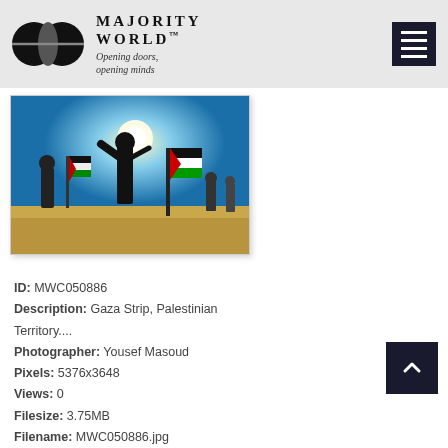MAJORITY WORLD™ Opening doors, opening minds
[Figure (photo): People on a beach with Palestinian flags, one person silhouetted against bright sun with arm raised, others in background with flags]
ID: MWC050886
Description: Gaza Strip, Palestinian Territory....
Photographer: Yousef Masoud
Pixels: 5376x3648
Views: 0
Filesize: 3.75MB
Filename: MWC050886.jpg
Owner: Yousef Masoud
Added: Aug 19, 2022